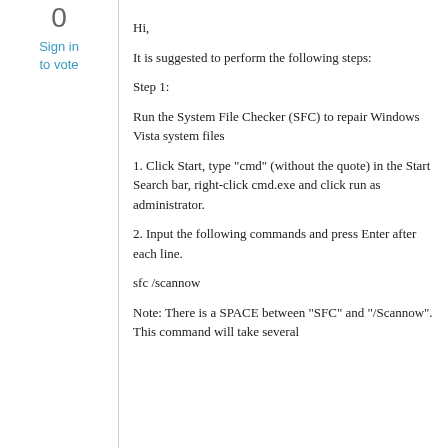0
Sign in to vote
Hi,
It is suggested to perform the following steps:
Step 1:
Run the System File Checker (SFC) to repair Windows Vista system files
1. Click Start, type "cmd" (without the quote) in the Start Search bar, right-click cmd.exe and click run as administrator.
2. Input the following commands and press Enter after each line.
sfc /scannow
Note: There is a SPACE between "SFC" and "/Scannow". This command will take several